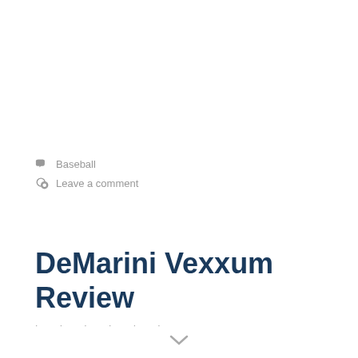Baseball
Leave a comment
DeMarini Vexxum Review